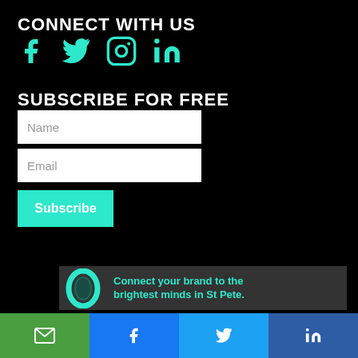CONNECT WITH US
[Figure (infographic): Social media icons: Facebook, Twitter, Instagram, LinkedIn in teal/cyan color on black background]
SUBSCRIBE FOR FREE
[Figure (screenshot): Subscribe form with Name field, Email field, and a teal Subscribe button]
[Figure (infographic): Ad banner with teal ring logo and text: Connect your brand to the brightest minds in St Pete.]
[Figure (infographic): Share bar with four buttons: email (green), Facebook (blue), Twitter (light blue), LinkedIn (dark blue)]